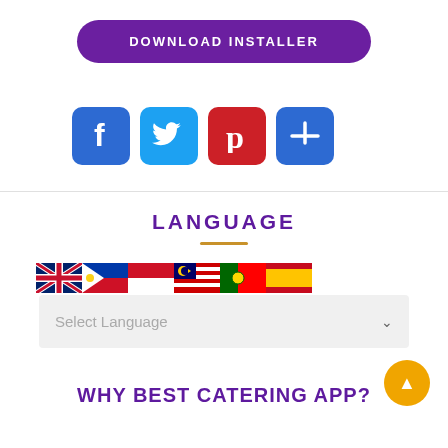[Figure (other): Purple pill-shaped Download Installer button]
[Figure (other): Social share icons: Facebook (blue), Twitter (light blue), Pinterest (red), Share/Plus (blue)]
LANGUAGE
[Figure (other): Row of country flag icons: UK, Philippines, Indonesia, Malaysia, Portugal, Spain]
[Figure (other): Select Language dropdown box with chevron arrow]
WHY BEST CATERING APP?
[Figure (other): Orange circular scroll-to-top button with upward triangle arrow]